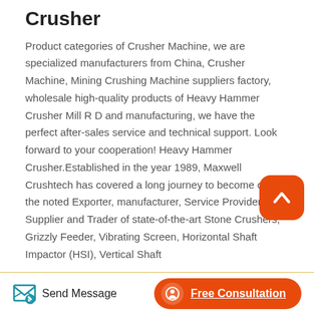Crusher
Product categories of Crusher Machine, we are specialized manufacturers from China, Crusher Machine, Mining Crushing Machine suppliers factory, wholesale high-quality products of Heavy Hammer Crusher Mill R D and manufacturing, we have the perfect after-sales service and technical support. Look forward to your cooperation! Heavy Hammer Crusher.Established in the year 1989, Maxwell Crushtech has covered a long journey to become one of the noted Exporter, manufacturer, Service Provider and Supplier and Trader of state-of-the-art Stone Crushers, Grizzly Feeder, Vibrating Screen, Horizontal Shaft Impactor (HSI), Vertical Shaft
[Figure (illustration): Orange rounded square button with white upward chevron arrow (scroll-to-top button)]
Send Message   Free Consultation